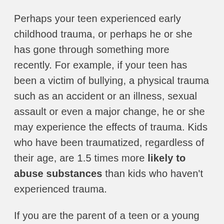Perhaps your teen experienced early childhood trauma, or perhaps he or she has gone through something more recently. For example, if your teen has been a victim of bullying, a physical trauma such as an accident or an illness, sexual assault or even a major change, he or she may experience the effects of trauma. Kids who have been traumatized, regardless of their age, are 1.5 times more likely to abuse substances than kids who haven't experienced trauma.
If you are the parent of a teen or a young adult, you may be grappling with the after-effects of their trauma. This could mean aggressiveness, acting out, excessive risk-taking, substance abuse, poor performance in school, etc.
Substance abuse is particularly alarming. It can lead to a lifelong struggle with addiction. Many adults who find themselves in and out of rehab or jail are still